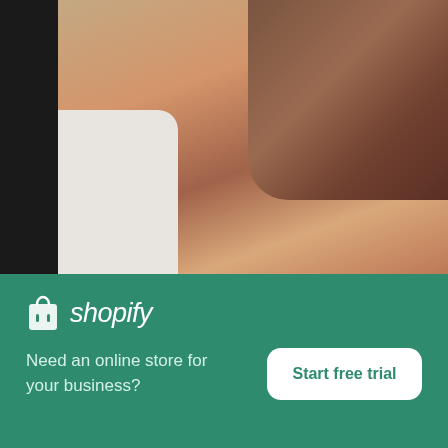[Figure (photo): Cropped photo of a woman wearing a white t-shirt, adjusting the cuff. A tattooed arm is visible in the top right.]
Woman Fixes The Cuff Of Her Blank White T Shirt
High resolution download ↓
[Figure (photo): Partial photo showing a brick wall background.]
[Figure (logo): Shopify logo with shopping bag icon and italic wordmark]
Need an online store for your business?
Start free trial